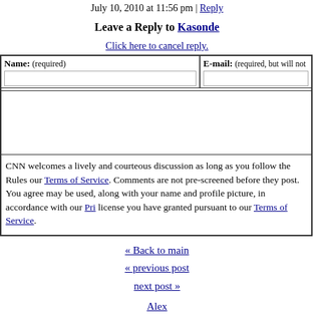July 10, 2010 at 11:56 pm | Reply
Leave a Reply to Kasonde
Click here to cancel reply.
Name: (required)   E-mail: (required, but will not
CNN welcomes a lively and courteous discussion as long as you follow the Rules our Terms of Service. Comments are not pre-screened before they post. You agree may be used, along with your name and profile picture, in accordance with our Pri license you have granted pursuant to our Terms of Service.
« Back to main
« previous post
next post »
Alex